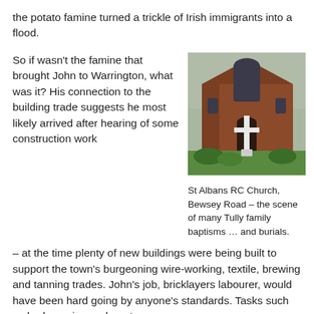the potato famine turned a trickle of Irish immigrants into a flood.
So if wasn't the famine that brought John to Warrington, what was it? His connection to the building trade suggests he most likely arrived after hearing of some construction work – at the time plenty of new buildings were being built to support the town's burgeoning wire-working, textile, brewing and tanning trades. John's job, bricklayers labourer, would have been hard going by anyone's standards. Tasks such as hod carrying and mortar
[Figure (photo): Photograph of St Albans RC Church, a red brick church building with a large white cross monument in front, located on Bewsey Road.]
St Albans RC Church, Bewsey Road – the scene of many Tully family baptisms … and burials.